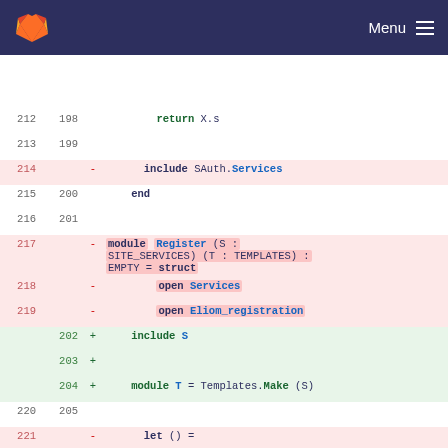GitLab — Menu
[Figure (screenshot): Code diff view showing OCaml source code changes. Removed lines (red background) include: include SAuth.Services, module Register (S : SITE_SERVICES) (T : TEMPLATES) : EMPTY = struct, open Services, open Eliom_registration, let () =, match main_election with. Added lines (green background) include: include S, module T = Templates.Make (S), let () = register_election_ref := fun config ->, let registration = Web_election.make config in. Unchanged lines include: return X.s, end.]